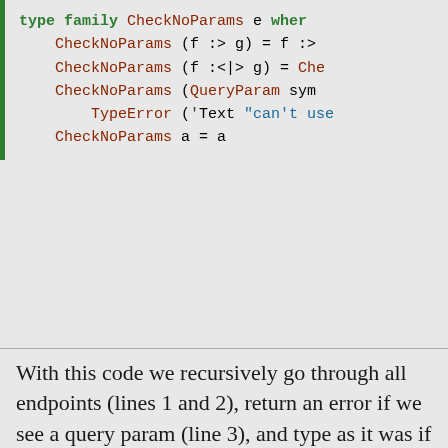[Figure (screenshot): Code block showing Haskell type family CheckNoParams with green left border. Lines: 'type family CheckNoParams e wher', 'CheckNoParams (f :> g) = f :>', 'CheckNoParams (f :<|> g) = Che', 'CheckNoParams (QueryParam sym', 'TypeError (\'Text "can\'t use', 'CheckNoParams a = a']
With this code we recursively go through all endpoints (lines 1 and 2), return an error if we see a query param (line 3), and type as it was if it’s not a QueryParam (line 5)
If you’ll use RestrictQueryParam on the endpoint that uses a query you’ll get the following error message: